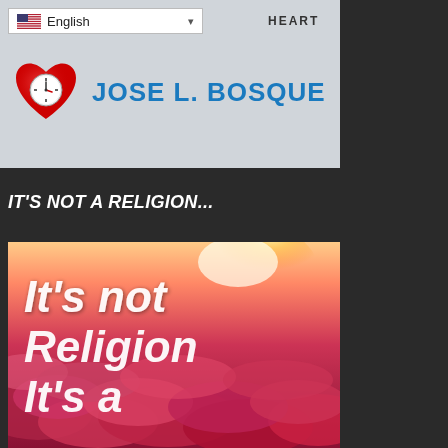[Figure (screenshot): Website header banner with language selector showing English with US flag, HEART text, heart icon logo and author name JOSE L. BOSQUE in blue text on light gray background]
IT'S NOT A RELIGION...
[Figure (photo): Inspirational image with pink/red cloudy sky background and white italic text reading 'It's not Religion It's a' (text continues below visible area)]